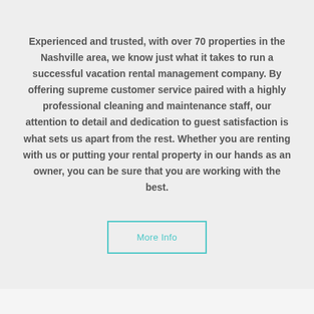Experienced and trusted, with over 70 properties in the Nashville area, we know just what it takes to run a successful vacation rental management company. By offering supreme customer service paired with a highly professional cleaning and maintenance staff, our attention to detail and dedication to guest satisfaction is what sets us apart from the rest. Whether you are renting with us or putting your rental property in our hands as an owner, you can be sure that you are working with the best.
More Info